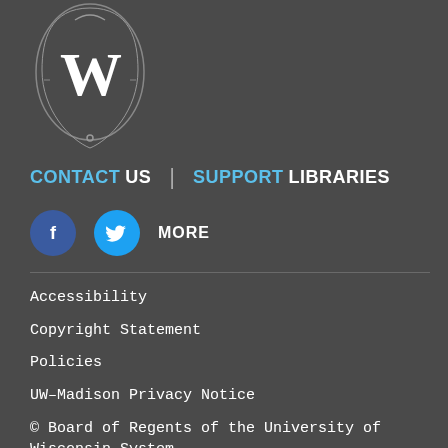[Figure (logo): University of Wisconsin crest/shield logo with W letter in white on dark background]
CONTACT US | SUPPORT LIBRARIES
[Figure (illustration): Facebook circle icon (dark blue) and Twitter circle icon (light blue), followed by MORE text]
Accessibility
Copyright Statement
Policies
UW–Madison Privacy Notice
© Board of Regents of the University of Wisconsin System